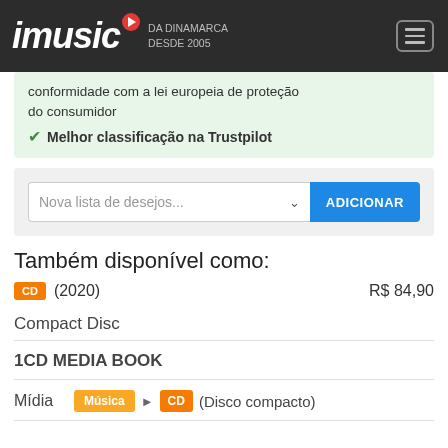imusic DA DINAMARCA DESDE 2005
conformidade com a lei europeia de proteção do consumidor
✔ Melhor classificação na Trustpilot
Nova lista de desejos...
ADICIONAR
Também disponível como:
CD (2020) R$ 84,90
Compact Disc
1CD MEDIA BOOK
Mídia Música ▶ CD (Disco compacto)